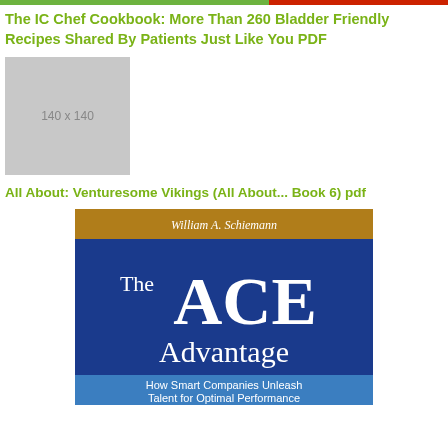The IC Chef Cookbook: More Than 260 Bladder Friendly Recipes Shared By Patients Just Like You PDF
[Figure (other): Placeholder image 140 x 140]
All About: Venturesome Vikings (All About... Book 6) pdf
[Figure (illustration): Book cover for The ACE Advantage by William A. Schiemann. Blue and gold cover with large text reading 'The ACE Advantage' and subtitle 'How Smart Companies Unleash Talent for Optimal Performance']